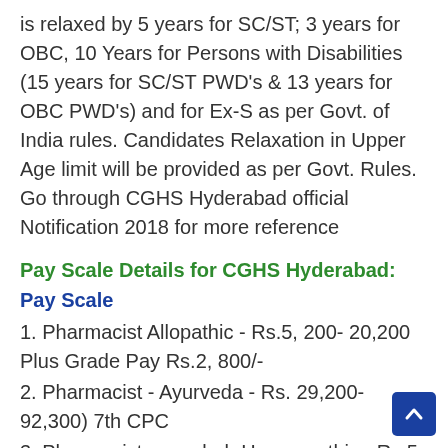is relaxed by 5 years for SC/ST; 3 years for OBC, 10 Years for Persons with Disabilities (15 years for SC/ST PWD's & 13 years for OBC PWD's) and for Ex-S as per Govt. of India rules. Candidates Relaxation in Upper Age limit will be provided as per Govt. Rules. Go through CGHS Hyderabad official Notification 2018 for more reference
Pay Scale Details for CGHS Hyderabad:
Pay Scale
1. Pharmacist Allopathic - Rs.5, 200- 20,200 Plus Grade Pay Rs.2, 800/-
2. Pharmacist - Ayurveda - Rs. 29,200- 92,300) 7th CPC
3. Pharmacist cum-clerk-Homeopathic - Rs.5, 200-20,200 Plus Grade Pay Rs.2, 800/-
4. Pharmacist cum-clerk-Unani - Rs. 29,200-